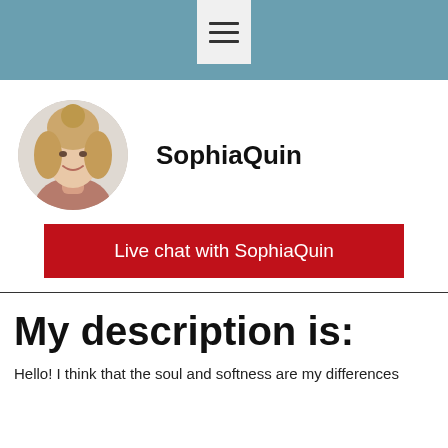≡
[Figure (photo): Circular profile photo of a young blonde woman smiling, with hair up, light background]
SophiaQuin
Live chat with SophiaQuin
My description is:
Hello! I think that the soul and softness are my differences